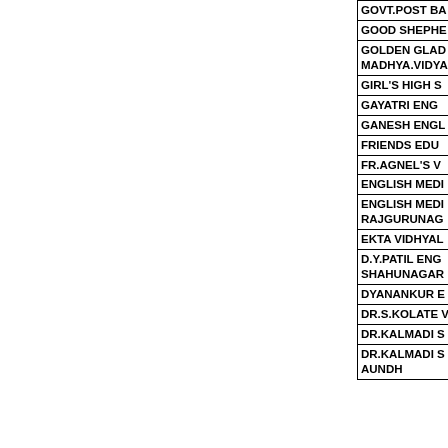| GOVT.POST BA |
| GOOD SHEPHE |
| GOLDEN GLAD
MADHYA.VIDYA |
| GIRL'S HIGH S |
| GAYATRI ENG |
| GANESH ENGL |
| FRIENDS EDU |
| FR.AGNEL'S V |
| ENGLISH MEDI |
| ENGLISH MEDI
RAJGURUNAG |
| EKTA VIDHYAL |
| D.Y.PATIL ENG
SHAHUNAGAR |
| DYANANKUR E |
| DR.S.KOLATE V |
| DR.KALMADI S |
| DR.KALMADI S
AUNDH |